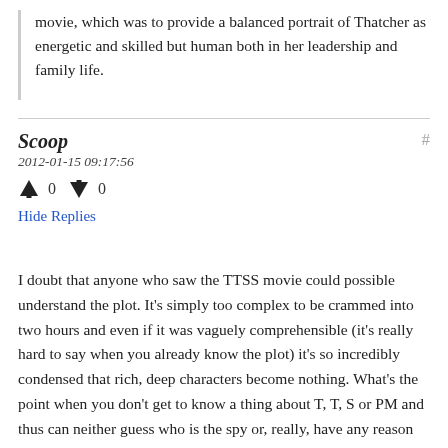movie, which was to provide a balanced portrait of Thatcher as energetic and skilled but human both in her leadership and family life.
Scoop
2012-01-15 09:17:56
↑ 0 ↓ 0
Hide Replies
I doubt that anyone who saw the TTSS movie could possible understand the plot. It's simply too complex to be crammed into two hours and even if it was vaguely comprehensible (it's really hard to say when you already know the plot) it's so incredibly condensed that rich, deep characters become nothing. What's the point when you don't get to know a thing about T, T, S or PM and thus can neither guess who is the spy or, really, have any reason whatever to care?
Also, the period detailing that everyone compliments is an